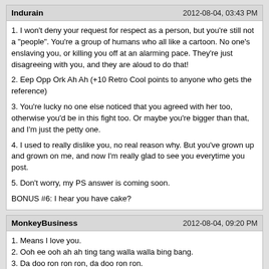Indurain | 2012-08-04, 03:43 PM
1. I won't deny your request for respect as a person, but you're still not a "people". You're a group of humans who all like a cartoon. No one's enslaving you, or killing you off at an alarming pace. They're just disagreeing with you, and they are aloud to do that!

2. Eep Opp Ork Ah Ah (+10 Retro Cool points to anyone who gets the reference)

3. You're lucky no one else noticed that you agreed with her too, otherwise you'd be in this fight too. Or maybe you're bigger than that, and I'm just the petty one.

4. I used to really dislike you, no real reason why. But you've grown up and grown on me, and now I'm really glad to see you everytime you post.

5. Don't worry, my PS answer is coming soon.

BONUS #6: I hear you have cake?
MonkeyBusiness | 2012-08-04, 09:20 PM
1. Means I love you.
2. Ooh ee ooh ah ah ting tang walla walla bing bang.
3. Da doo ron ron ron, da doo ron ron.
4. Mana, mana (doot doo dee doo doo).
5. Put them all together, they spell, "Hckc ... pw!"
Gnomish Wanderer | 2012-08-04, 09:47 PM
1. Glad I could help. *takes some cake*
2. I have to agree with Indy that I don't like the use of 'people' in that manner, but I still agree that no one should be prosecuted or downtrodden for their